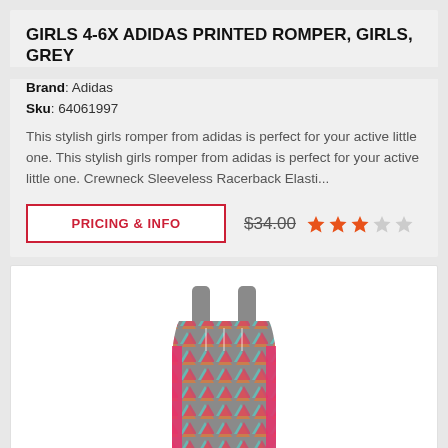GIRLS 4-6X ADIDAS PRINTED ROMPER, GIRLS, GREY
Brand: Adidas
Sku: 64061997
This stylish girls romper from adidas is perfect for your active little one. This stylish girls romper from adidas is perfect for your active little one. Crewneck Sleeveless Racerback Elasti...
PRICING & INFO
$34.00
[Figure (photo): Grey Adidas printed romper for girls, sleeveless racerback style with colorful triangle/geometric print pattern and pink accents, displayed on a white background]